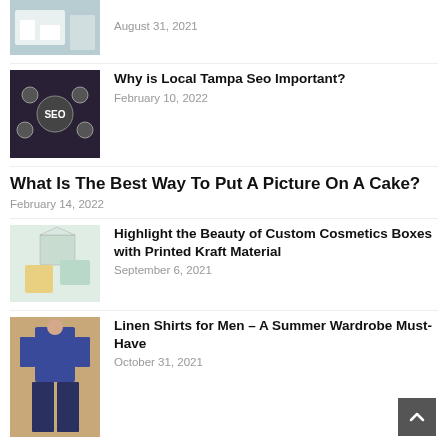[Figure (photo): Office interior thumbnail (partial, cropped at top)]
August 31, 2021
[Figure (photo): Person in suit holding SEO icons]
Why is Local Tampa Seo Important?
February 10, 2022
What Is The Best Way To Put A Picture On A Cake?
February 14, 2022
[Figure (photo): Custom cosmetics boxes with Kraft material]
Highlight the Beauty of Custom Cosmetics Boxes with Printed Kraft Material
September 6, 2021
[Figure (photo): Man in floral linen shirt standing against wall]
Linen Shirts for Men – A Summer Wardrobe Must-Have
October 31, 2021